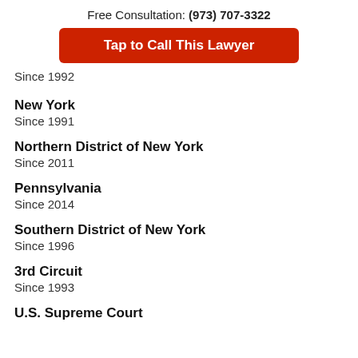Free Consultation: (973) 707-3322
Tap to Call This Lawyer
Since 1992
New York
Since 1991
Northern District of New York
Since 2011
Pennsylvania
Since 2014
Southern District of New York
Since 1996
3rd Circuit
Since 1993
U.S. Supreme Court